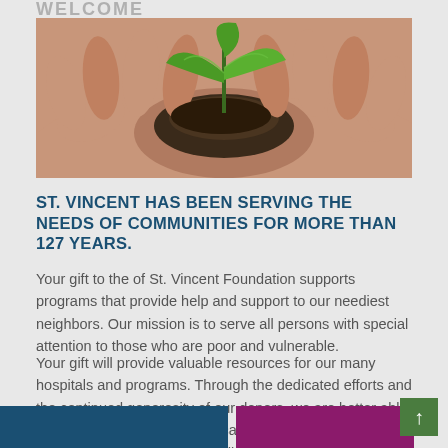WELCOME
[Figure (photo): Close-up photo of two hands cupping soil with a small green seedling plant growing from it]
ST. VINCENT HAS BEEN SERVING THE NEEDS OF COMMUNITIES FOR MORE THAN 127 YEARS.
Your gift to the of St. Vincent Foundation supports programs that provide help and support to our neediest neighbors. Our mission is to serve all persons with special attention to those who are poor and vulnerable.
Your gift will provide valuable resources for our many hospitals and programs. Through the dedicated efforts and the continued generosity of our donors, we are better able to meet the escalating healthcare needs of our community and all children throughout Indiana.